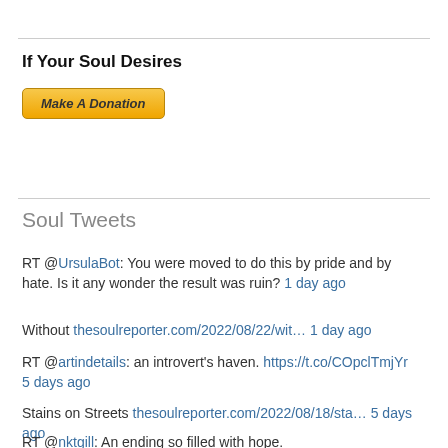If Your Soul Desires
[Figure (other): PayPal Make A Donation button]
Soul Tweets
RT @UrsulaBot: You were moved to do this by pride and by hate. Is it any wonder the result was ruin? 1 day ago
Without thesoulreporter.com/2022/08/22/wit… 1 day ago
RT @artindetails: an introvert's haven. https://t.co/COpclTmjYr 5 days ago
Stains on Streets thesoulreporter.com/2022/08/18/sta… 5 days ago
RT @nktgill: An ending so filled with hope. https://t.co/mEpkxhsuJu 1 week ago